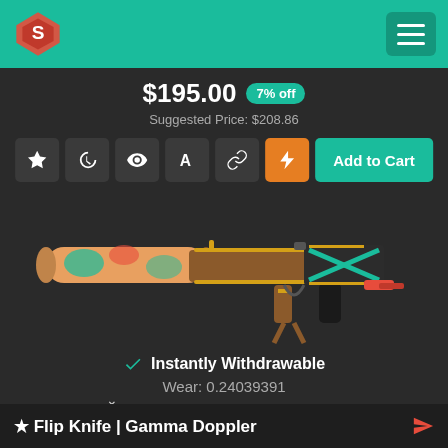Header navigation bar with logo and menu
$195.00  7% off
Suggested Price: $208.86
[Figure (photo): CS:GO MP5-SD weapon skin with colorful orange-teal Gamma Doppler pattern and suppressor, displayed on dark background]
✓ Instantly Withdrawable
Wear: 0.24039391
[Figure (infographic): Wear rating bar showing gradient from green to red with caret indicator around 0.24 position]
★ Flip Knife | Gamma Doppler